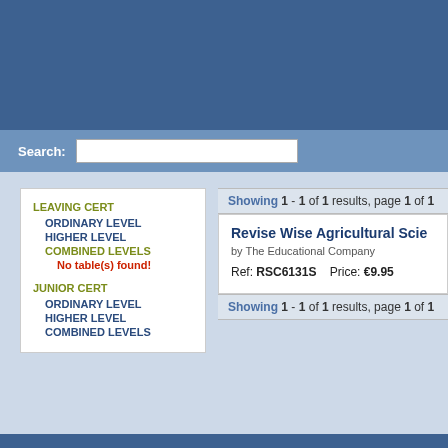[Figure (screenshot): Blue header banner at top of page]
Search:
Showing 1 - 1 of 1 results, page 1 of 1
LEAVING CERT
ORDINARY LEVEL
HIGHER LEVEL
COMBINED LEVELS
No table(s) found!
JUNIOR CERT
ORDINARY LEVEL
HIGHER LEVEL
COMBINED LEVELS
Revise Wise Agricultural Scie
by The Educational Company
Ref: RSC6131S     Price: €9.95
Showing 1 - 1 of 1 results, page 1 of 1